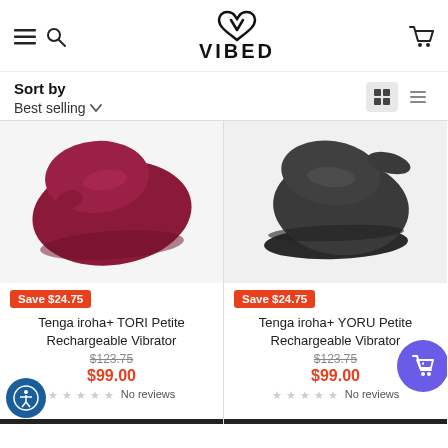VIBED - navigation header with hamburger menu, search, logo, and cart icon
Sort by
Best selling
[Figure (photo): Red/burgundy ergonomic vibrator product photo on light grey background - Tenga iroha+ TORI]
Save $24.75
Tenga iroha+ TORI Petite Rechargeable Vibrator
$123.75
$99.00
No reviews
[Figure (photo): Dark charcoal/black ergonomic vibrator product photo on light grey background - Tenga iroha+ YORU]
Save $24.75
Tenga iroha+ YORU Petite Rechargeable Vibrator
$123.75
$99.00
No reviews